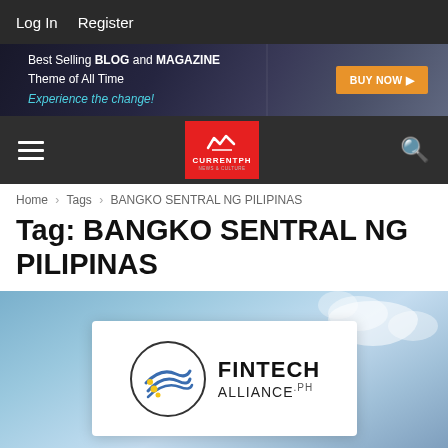Log In   Register
[Figure (screenshot): Advertisement banner: Best Selling BLOG and MAGAZINE Theme of All Time. Experience the change! BUY NOW button.]
[Figure (logo): CurrentPH navigation bar with hamburger menu, CurrentPH red logo, and search icon.]
Home › Tags › BANGKO SENTRAL NG PILIPINAS
Tag: BANGKO SENTRAL NG PILIPINAS
[Figure (photo): Fintech Alliance.ph logo on white card over blue sky background.]